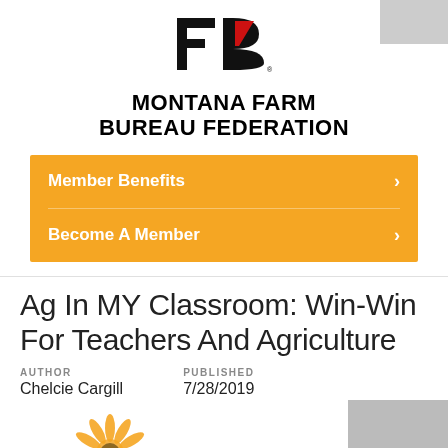[Figure (logo): Montana Farm Bureau Federation logo with stylized FB letters in black and red]
MONTANA FARM BUREAU FEDERATION
Member Benefits >
Become A Member >
Ag In MY Classroom: Win-Win For Teachers And Agriculture
AUTHOR
Chelcie Cargill
PUBLISHED
7/28/2019
[Figure (illustration): Partial sunflower image at bottom of page]